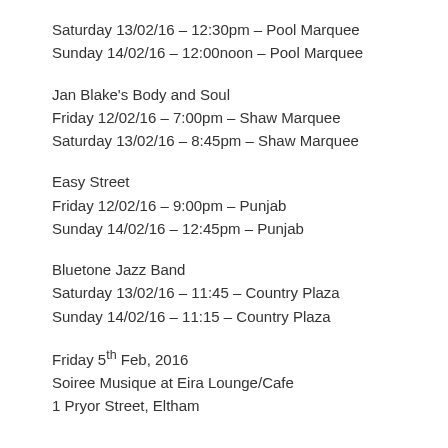Saturday 13/02/16 – 12:30pm – Pool Marquee
Sunday 14/02/16 – 12:00noon – Pool Marquee
Jan Blake's Body and Soul
Friday 12/02/16 – 7:00pm – Shaw Marquee
Saturday 13/02/16 – 8:45pm – Shaw Marquee
Easy Street
Friday 12/02/16 – 9:00pm – Punjab
Sunday 14/02/16 – 12:45pm – Punjab
Bluetone Jazz Band
Saturday 13/02/16 – 11:45 – Country Plaza
Sunday 14/02/16 – 11:15 – Country Plaza
Friday 5th Feb, 2016
Soiree Musique at Eira Lounge/Cafe
1 Pryor Street, Eltham